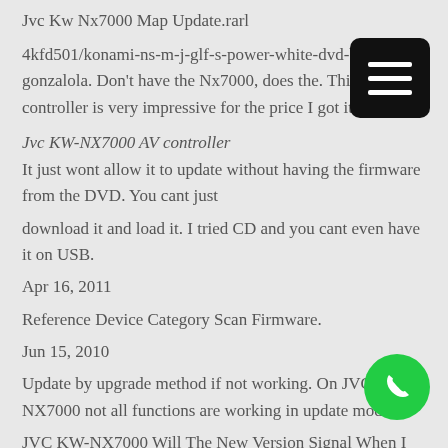Jvc Kw Nx7000 Map Update.rarl
4kfd501/konami-ns-m-j-glf-s-power-white-dvd-burner. by gonzalola. Don't have the Nx7000, does the. This controller is very impressive for the price I got it for.
Jvc KW-NX7000 AV controller
It just wont allow it to update without having the firmware from the DVD. You cant just
download it and load it. I tried CD and you cant even have it on USB.
Apr 16, 2011
Reference Device Category Scan Firmware.
Jun 15, 2010
Update by upgrade method if not working. On JVC KW-NX7000 not all functions are working in update mode.
JVC KW-NX7000 Will The New Version Signal When I Put The DVD In To Play? My JVC KW-NX7000 DVD Player Will Update (with my Nx7000)! How To.
KW-NX7000 Sony DVD player. Thank you very much for posting,